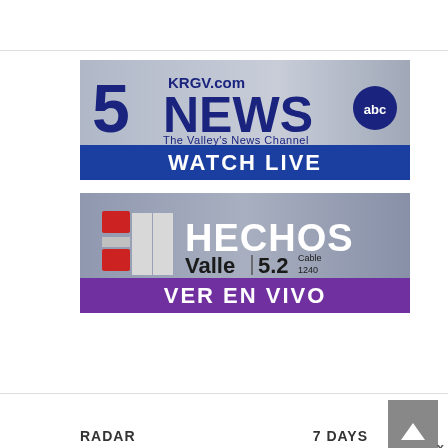[Figure (logo): KRGV.com 5 NEWS abc - The Valley's News Channel - WATCH LIVE banner]
[Figure (logo): HECHOS Valle 5.2 Cable 1240 - VER EN VIVO banner]
[Figure (other): Scroll-to-top button (arrow up icon on gray background)]
x
RADAR
7 DAYS